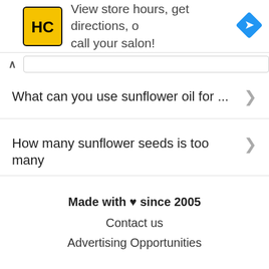[Figure (screenshot): Advertisement banner for a hair salon chain (HC logo) with text 'View store hours, get directions, or call your salon!' and a blue navigation arrow icon]
What can you use sunflower oil for ...
How many sunflower seeds is too many ...
Made with ♥ since 2005
Contact us
Advertising Opportunities